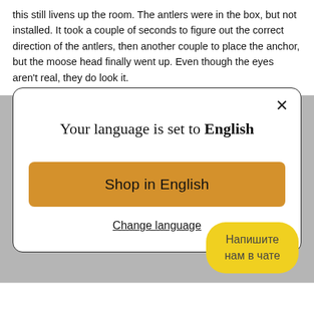this still livens up the room. The antlers were in the box, but not installed. It took a couple of seconds to figure out the correct direction of the antlers, then another couple to place the anchor, but the moose head finally went up. Even though the eyes aren't real, they do look it.
[Figure (screenshot): Modal dialog with title 'Your language is set to English', a yellow-orange 'Shop in English' button, and a 'Change language' underlined text link. A close (X) button is in the top right corner.]
[Figure (screenshot): Yellow rounded chat button with Cyrillic text 'Напишите нам в чате' (Write to us in chat)]
Напишите нам в чате